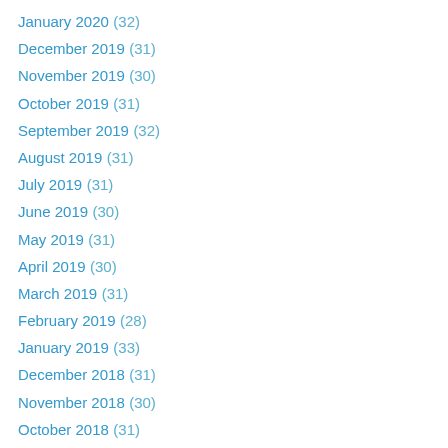January 2020 (32)
December 2019 (31)
November 2019 (30)
October 2019 (31)
September 2019 (32)
August 2019 (31)
July 2019 (31)
June 2019 (30)
May 2019 (31)
April 2019 (30)
March 2019 (31)
February 2019 (28)
January 2019 (33)
December 2018 (31)
November 2018 (30)
October 2018 (31)
September 2018 (32)
August 2018 (31)
July 2018 (31)
June 2018 (31)